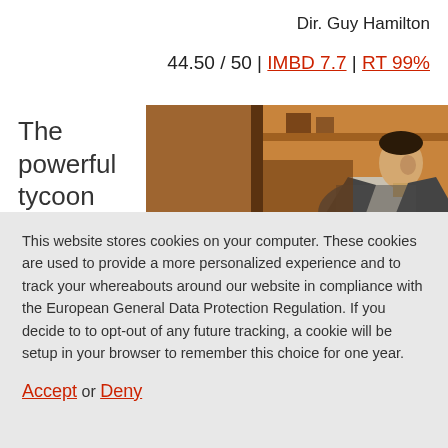Dir. Guy Hamilton
44.50 / 50 | IMBD 7.7 | RT 99%
The powerful tycoon
[Figure (photo): A man in a suit leaning forward, photographed against a warm brown/orange background interior setting.]
This website stores cookies on your computer. These cookies are used to provide a more personalized experience and to track your whereabouts around our website in compliance with the European General Data Protection Regulation. If you decide to to opt-out of any future tracking, a cookie will be setup in your browser to remember this choice for one year.
Accept or Deny